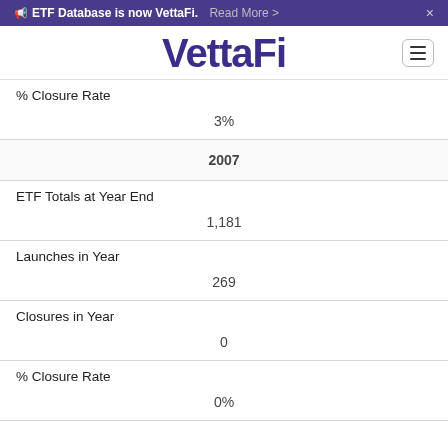ETF Database is now VettaFi. Read More >
[Figure (logo): VettaFi logo with stylized V and hamburger menu button]
| % Closure Rate | 3% |
| 2007 |  |
| ETF Totals at Year End | 1,181 |
| Launches in Year | 269 |
| Closures in Year | 0 |
| % Closure Rate | 0% |